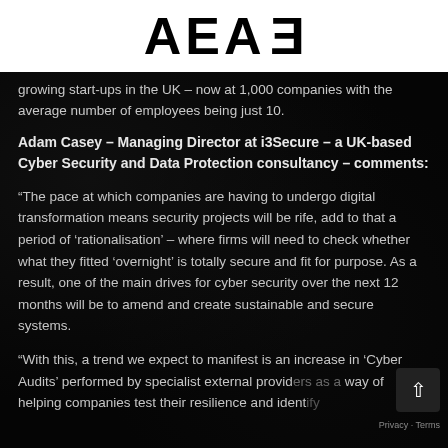AEA3
growing start-ups in the UK – now at 1,000 companies with the average number of employees being just 10.
Adam Casey – Managing Director at i3Secure – a UK-based Cyber Security and Data Protection consultancy – comments:
“The pace at which companies are having to undergo digital transformation means security projects will be rife, add to that a period of ‘rationalisation’ – where firms will need to check whether what they fitted ‘overnight’ is totally secure and fit for purpose. As a result, one of the main drives for cyber security over the next 12 months will be to amend and create sustainable and secure systems.
“With this, a trend we expect to manifest is an increase in ‘Cyber Audits’ performed by specialist external providers as a way of helping companies test their resilience and identify